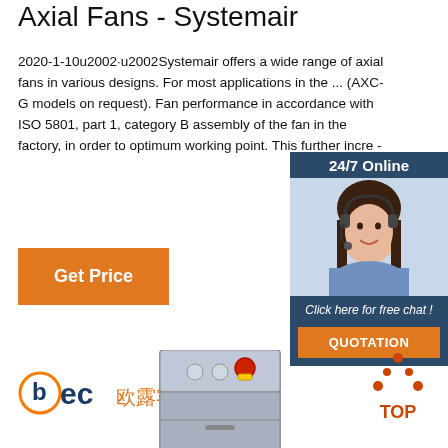Axial Fans - Systemair
2020-1-10u2002·u2002Systemair offers a wide range of axial fans in various designs. For most applications in the ... (AXC-G models on request). Fan performance in accordance with ISO 5801, part 1, category B assembly of the fan in the factory, in order to optimum working point. This further incre -
[Figure (other): Orange 'Get Price' button]
[Figure (other): 24/7 Online chat widget with a woman wearing a headset, dark blue background, 'Click here for free chat!' text and orange QUOTATION button]
[Figure (logo): BEC logo with Chinese characters (欧露客)]
[Figure (photo): Industrial control box/panel with buttons including red emergency stop]
[Figure (other): TOP navigation icon with dots and arrow]